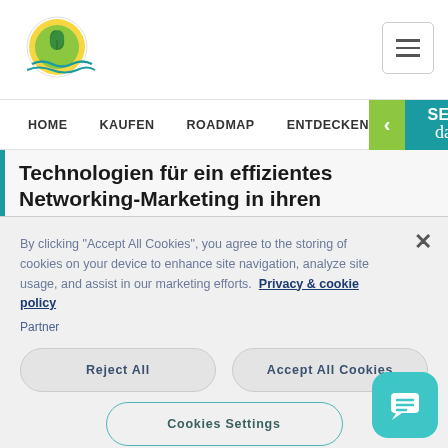[Figure (logo): Green circular logo with plant/leaf design over water waves]
[Figure (other): Hamburger menu icon button (three horizontal lines)]
HOME   KAUFEN   ROADMAP   ENTDECKEN
[Figure (other): SEI MIT dabei! banner button with green and teal sections and left arrow]
Technologien für ein effizientes Networking-Marketing in ihren Communities zu nutzen. Welche
By clicking "Accept All Cookies", you agree to the storing of cookies on your device to enhance site navigation, analyze site usage, and assist in our marketing efforts.  Privacy & cookie policy
Partner
Reject All
Accept All Cookies
Cookies Settings